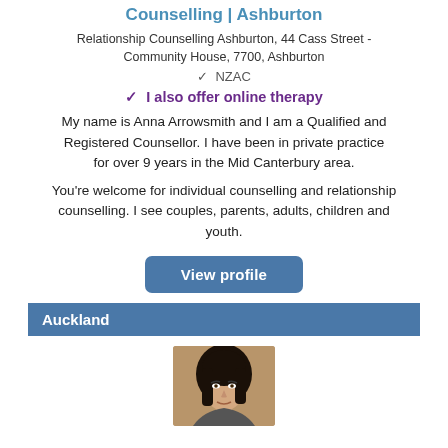Counselling | Ashburton
Relationship Counselling Ashburton, 44 Cass Street - Community House, 7700, Ashburton
✓  NZAC
✓  I also offer online therapy
My name is Anna Arrowsmith and I am a Qualified and Registered Counsellor. I have been in private practice for over 9 years in the Mid Canterbury area.
You're welcome for individual counselling and relationship counselling. I see couples, parents, adults, children and youth.
View profile
Auckland
[Figure (photo): Profile photo of a woman with dark shoulder-length hair against a brown/tan background]